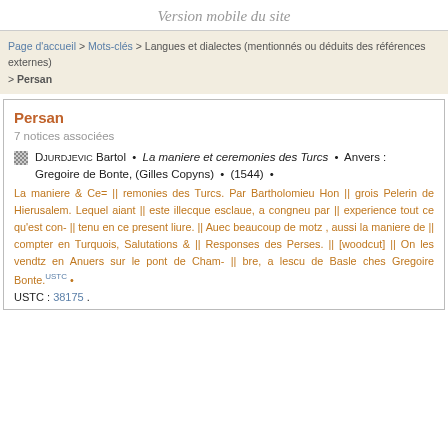Version mobile du site
Page d'accueil > Mots-clés > Langues et dialectes (mentionnés ou déduits des références externes) > Persan
Persan
7 notices associées
DJURDJEVIC Bartol • La maniere et ceremonies des Turcs • Anvers : Gregoire de Bonte, (Gilles Copyns) • (1544) •
La maniere & Ce= || remonies des Turcs. Par Bartholomieu Hon || grois Pelerin de Hierusalem. Lequel aiant || este illecque esclaue, a congneu par || experience tout ce qu'est con- || tenu en ce present liure. || Auec beaucoup de motz , aussi la maniere de || compter en Turquois, Salutations & || Responses des Perses. || [woodcut] || On les vendtz en Anuers sur le pont de Cham- || bre, a lescu de Basle ches Gregoire Bonte.USTC •
USTC : 38175 .